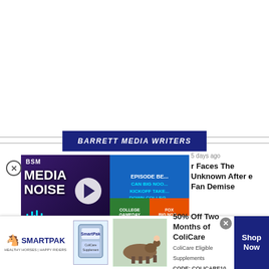BARRETT MEDIA WRITERS
[Figure (screenshot): Podcast thumbnail for BSM Media Noise with play button and episode card overlay showing 'EPISODE BE... CAN BIG NOO... KICKOFF TAKE... DOWN COLLEG... GAMEDAY?' with College Gameday and Fox Big Noon mini cards]
5 days ago
r Faces The Unknown After e Fan Demise
VS / 4 days ago
[Figure (infographic): SmartPak advertisement banner: 50% Off Two Months of ColiCare, ColiCare Eligible Supplements CODE: COLICARE10, Shop Now button]